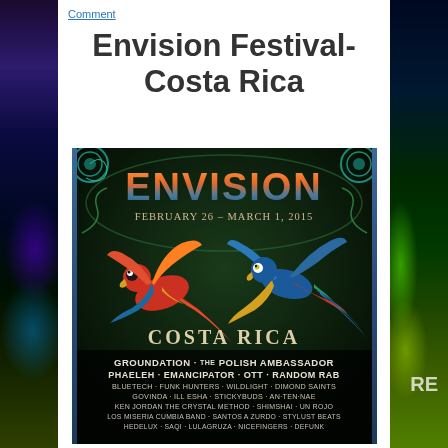Comment
Envision Festival- Costa Rica
[Figure (illustration): Envision Festival poster for Costa Rica, February 26 - March 1, 2015. Dark background with two colorful macaws/parrots in flight, surrounded by ornate psychedelic art. Text lists performers: Groundation, The Polish Ambassador, Phaeleh, Emancipator, OTT, Random Rab, Bluetech, Funk Hunters, Wildlight, Dimond Saints, Govinda, Ill-Esha, Stickybuds, An-Ten-Nae, Ken Jordan, The Crystal Method, Shimshai, Un Rojo, Los Miseria Cumbia Band, Santos A Zurdo, Stylust Beats, Hedelux, saQi, LulaGruza, Nicefingers, Defunk]